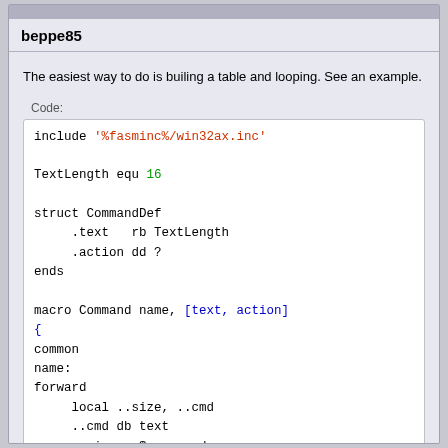beppe85
The easiest way to do is builing a table and looping. See an example.
Code:
include '%fasminc%/win32ax.inc'

TextLength equ 16

struct CommandDef
    .text   rb TextLength
    .action dd ?
ends

macro Command name, [text, action]
{
common
name:
forward
    local ..size, ..cmd
    ..cmd db text
    ..size = $ - ..cmd
    times TextLength - ..size db 0
    dd action
}

macro asciiz name, text